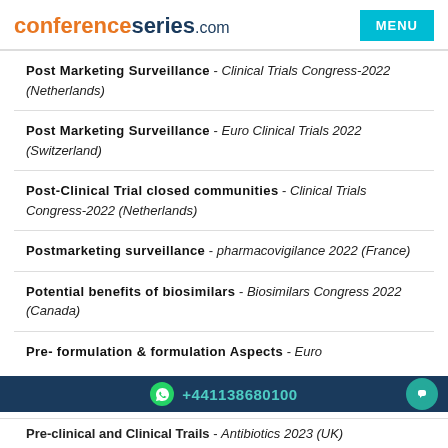conferenceseries.com | MENU
Post Marketing Surveillance - Clinical Trials Congress-2022 (Netherlands)
Post Marketing Surveillance - Euro Clinical Trials 2022 (Switzerland)
Post-Clinical Trial closed communities - Clinical Trials Congress-2022 (Netherlands)
Postmarketing surveillance - pharmacovigilance 2022 (France)
Potential benefits of biosimilars - Biosimilars Congress 2022 (Canada)
Pre- formulation & formulation Aspects - Euro
+441138680100
Pre-clinical and Clinical Trails - Antibiotics 2023 (UK)